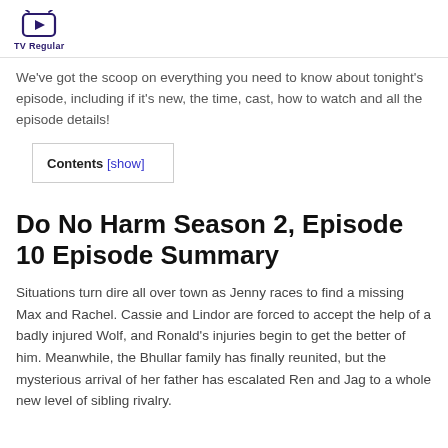TV Regular
We've got the scoop on everything you need to know about tonight's episode, including if it's new, the time, cast, how to watch and all the episode details!
Contents [show]
Do No Harm Season 2, Episode 10 Episode Summary
Situations turn dire all over town as Jenny races to find a missing Max and Rachel. Cassie and Lindor are forced to accept the help of a badly injured Wolf, and Ronald's injuries begin to get the better of him. Meanwhile, the Bhullar family has finally reunited, but the mysterious arrival of her father has escalated Ren and Jag to a whole new level of sibling rivalry.